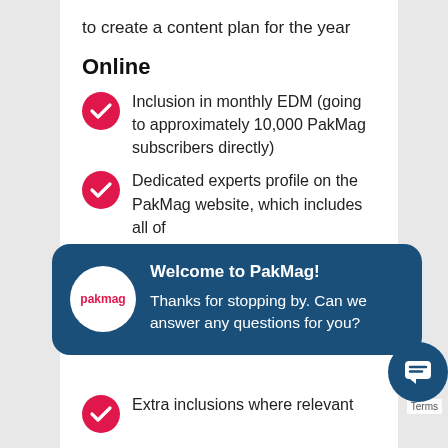to create a content plan for the year
Online
Inclusion in monthly EDM (going to approximately 10,000 PakMag subscribers directly)
Dedicated experts profile on the PakMag website, which includes all of
[Figure (screenshot): Chat popup overlay from PakMag website with logo, title 'Welcome to PakMag!' and message 'Thanks for stopping by. Can we answer any questions for you?']
Extra inclusions where relevant